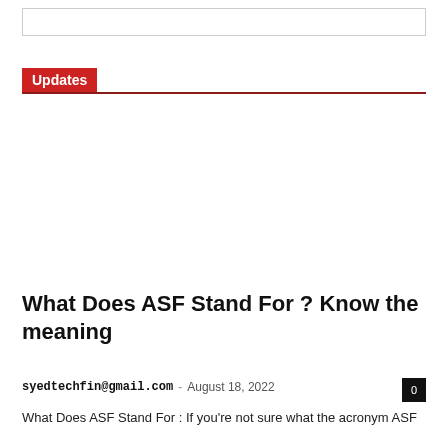Updates
What Does ASF Stand For ? Know the meaning
syedtechfin@gmail.com · August 18, 2022
What Does ASF Stand For : If you're not sure what the acronym ASF stands for, you've come to the right place. In ...